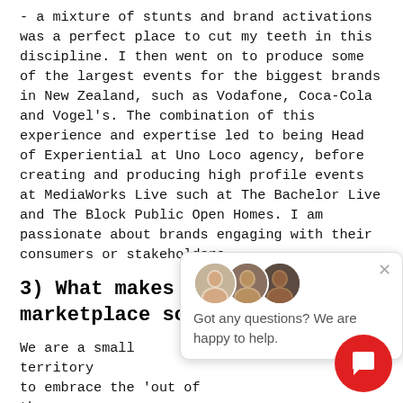- a mixture of stunts and brand activations was a perfect place to cut my teeth in this discipline. I then went on to produce some of the largest events for the biggest brands in New Zealand, such as Vodafone, Coca-Cola and Vogel's. The combination of this experience and expertise led to being Head of Experiential at Uno Loco agency, before creating and producing high profile events at MediaWorks Live such at The Bachelor Live and The Block Public Open Homes. I am passionate about brands engaging with their consumers or stakeholders.
3) What makes the NZ marketplace so unique?
We are a small territory ... to embrace the 'out of th... more willing to engage ... consider behaviour change. It makes this a perfect market to extend experiential as a key channel for brands.
[Figure (other): Chat widget overlay with two avatar photos and text: 'Got any questions? We are happy to help.' with a close (x) button.]
[Figure (other): Red circular chat button in bottom right corner with a speech bubble icon.]
4) How have the first few months of business for Porque NZ been going?